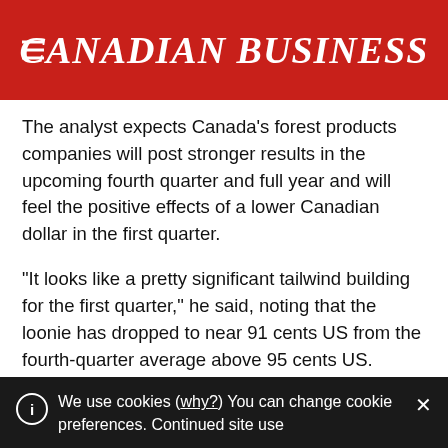CANADIAN BUSINESS
The analyst expects Canada’s forest products companies will post stronger results in the upcoming fourth quarter and full year and will feel the positive effects of a lower Canadian dollar in the first quarter.
“It looks like a pretty significant tailwind building for the first quarter,” he said, noting that the loonie has dropped to near 91 cents US from the fourth-quarter average above 95 cents US.
Mark Kennedy of CIBC World Markets raised his target
We use cookies (why?) You can change cookie preferences. Continued site use